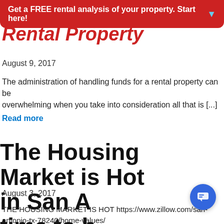Get a FREE rental analysis of your property. Start here!
Rental Property
August 9, 2017
The administration of handling funds for a rental property can be overwhelming when you take into consideration all that is [...]
Read more
The Housing Market is Hot in San Antonio – time to b…
[Figure (screenshot): Chat popup with avatar photo of a woman, close button, and message: Hi there, have a question? Text us here.]
August 3, 2017
THE HOUSING MARKET IS HOT https://www.zillow.com/san-antonio-tx-78240/home-values/